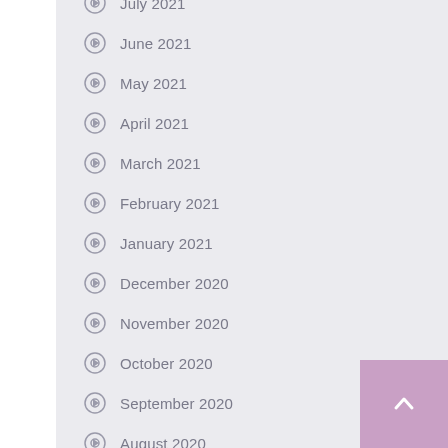July 2021
June 2021
May 2021
April 2021
March 2021
February 2021
January 2021
December 2020
November 2020
October 2020
September 2020
August 2020
July 2020
December 2016